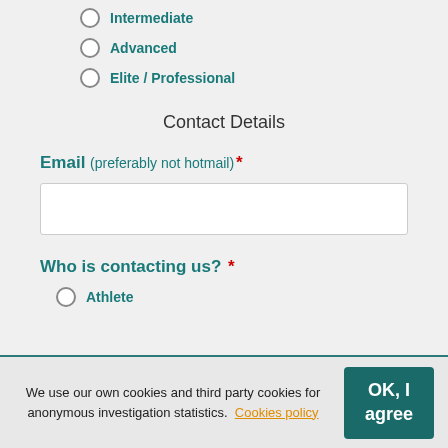Intermediate
Advanced
Elite / Professional
Contact Details
Email (preferably not hotmail) *
Who is contacting us? *
Athlete
We use our own cookies and third party cookies for anonymous investigation statistics. Cookies policy